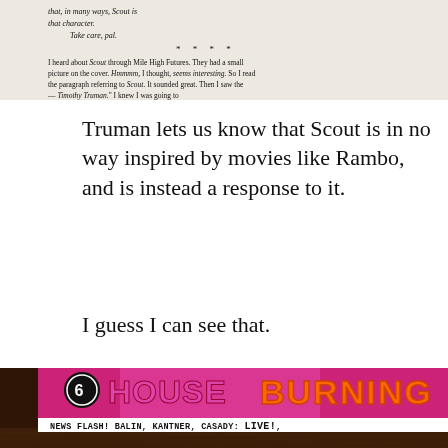[Figure (photo): Scanned page of text showing italic and roman text from what appears to be a letter or article about Scout, mentioning Mile High Futures and Timothy Truman, partially cropped at bottom]
Truman lets us know that Scout is in no way inspired by movies like Rambo, and is instead a response to it.
I guess I can see that.
[Figure (photo): Comic book cover or album cover showing colorful pink/magenta text reading 'HOUSE BURNING' with a circular logo, and text below reading 'NEWS FLASH! BALIN, KANTNER, CASADY: LIVE!,' lying on a wooden surface]